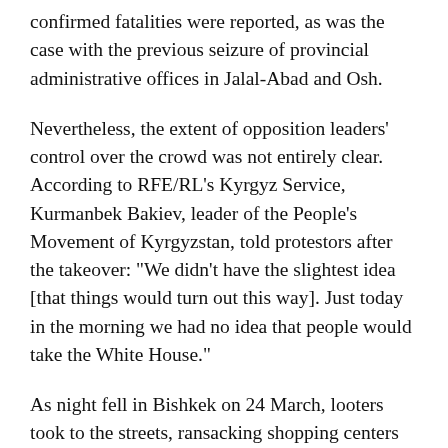confirmed fatalities were reported, as was the case with the previous seizure of provincial administrative offices in Jalal-Abad and Osh.
Nevertheless, the extent of opposition leaders' control over the crowd was not entirely clear. According to RFE/RL's Kyrgyz Service, Kurmanbek Bakiev, leader of the People's Movement of Kyrgyzstan, told protestors after the takeover: "We didn't have the slightest idea [that things would turn out this way]. Just today in the morning we had no idea that people would take the White House."
As night fell in Bishkek on 24 March, looters took to the streets, ransacking shopping centers (many of which belonged to members of the Akaev family) and targeting bank machines and currency-exchange points. The ensuing mayhem claimed three lives.